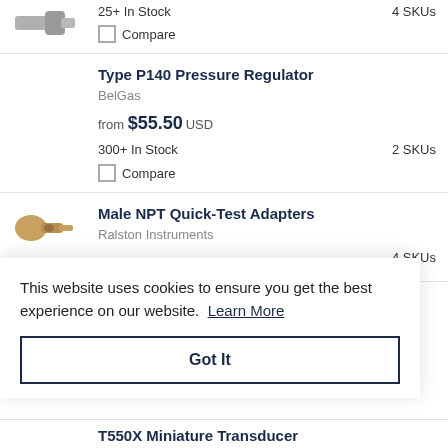25+ In Stock    4 SKUs
Compare
Type P140 Pressure Regulator
BelGas
from $55.50 USD
300+ In Stock    2 SKUs
Compare
Male NPT Quick-Test Adapters
Ralston Instruments
4 SKUs
This website uses cookies to ensure you get the best experience on our website. Learn More
Got It
T550X Miniature Transducer